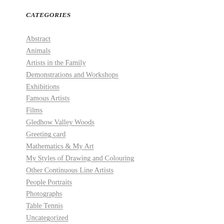CATEGORIES
Abstract
Animals
Artists in the Family
Demonstrations and Workshops
Exhibitions
Famous Artists
Films
Gledhow Valley Woods
Greeting card
Mathematics & My Art
My Styles of Drawing and Colouring
Other Continuous Line Artists
People Portraits
Photographs
Table Tennis
Uncategorized